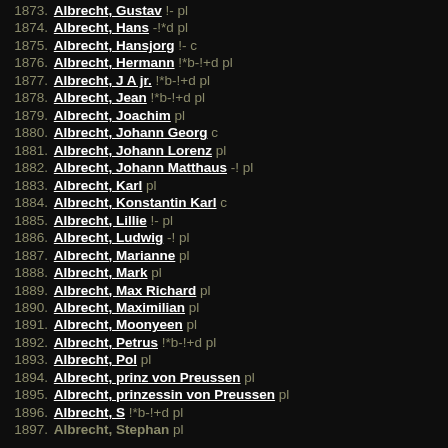1873. Albrecht, Gustav !- pl
1874. Albrecht, Hans -!*d pl
1875. Albrecht, Hansjorg !- c
1876. Albrecht, Hermann !*b-!+d pl
1877. Albrecht, J A jr. !*b-!+d pl
1878. Albrecht, Jean !*b-!+d pl
1879. Albrecht, Joachim pl
1880. Albrecht, Johann Georg c
1881. Albrecht, Johann Lorenz pl
1882. Albrecht, Johann Matthaus -! pl
1883. Albrecht, Karl pl
1884. Albrecht, Konstantin Karl c
1885. Albrecht, Lillie !- pl
1886. Albrecht, Ludwig -! pl
1887. Albrecht, Marianne pl
1888. Albrecht, Mark pl
1889. Albrecht, Max Richard pl
1890. Albrecht, Maximilian pl
1891. Albrecht, Moonyeen pl
1892. Albrecht, Petrus !*b-!+d pl
1893. Albrecht, Pol pl
1894. Albrecht, prinz von Preussen pl
1895. Albrecht, prinzessin von Preussen pl
1896. Albrecht, S !*b-!+d pl
1897. Albrecht, Stephan pl